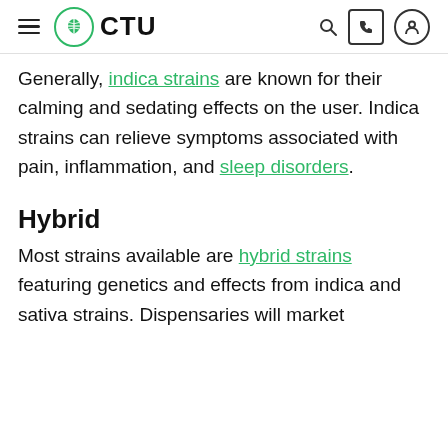CTU
Generally, indica strains are known for their calming and sedating effects on the user. Indica strains can relieve symptoms associated with pain, inflammation, and sleep disorders.
Hybrid
Most strains available are hybrid strains featuring genetics and effects from indica and sativa strains. Dispensaries will market